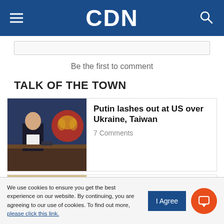CDN
Be the first to comment
TALK OF THE TOWN
[Figure (photo): Photo of Putin sitting at a table with a Russian coat of arms in the background]
Putin lashes out at US over Ukraine, Taiwan
7 Comments
[Figure (photo): Photo of an elderly man wearing a white face mask]
More Catholic dioceses in Cebu soon
We use cookies to ensure you get the best experience on our website. By continuing, you are agreeing to our use of cookies. To find out more, please click this link.